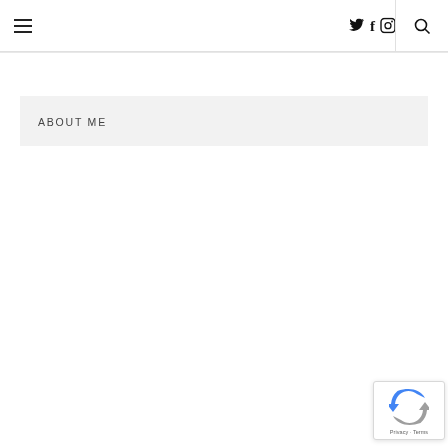≡ (hamburger menu) | social icons (Twitter, Facebook, Instagram) | search icon
ABOUT ME
[Figure (logo): reCAPTCHA badge with circular arrow icon in blue and gray, Privacy and Terms links below]